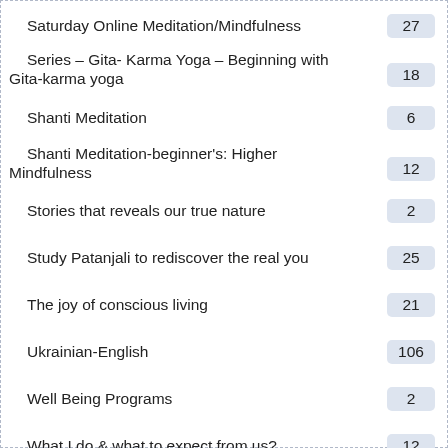Saturday Online Meditation/Mindfulness
Series – Gita- Karma Yoga – Beginning with Gita-karma yoga
Shanti Meditation
Shanti Meditation-beginner's: Higher Mindfulness
Stories that reveals our true nature
Study Patanjali to rediscover the real you
The joy of conscious living
Ukrainian-English
Well Being Programs
What I do & what to expect from us?